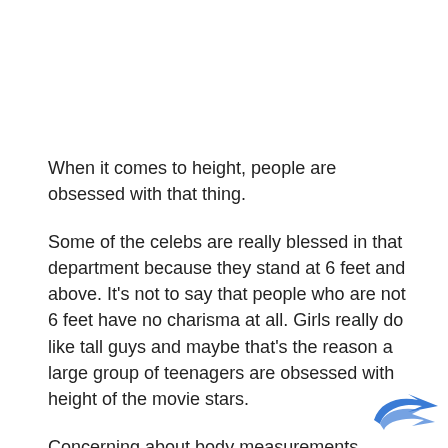When it comes to height, people are obsessed with that thing.
Some of the celebs are really blessed in that department because they stand at 6 feet and above. It's not to say that people who are not 6 feet have no charisma at all. Girls really do like tall guys and maybe that's the reason a large group of teenagers are obsessed with height of the movie stars.
Concerning about body measurements, people focu
[Figure (logo): Blue arrow/bird logo in bottom-right corner overlay]